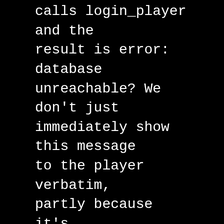happens when the game server calls login_player and the result is error: database unreachable? We don't just immediately show this message to the player verbatim, partly because it's meaningless to them, but also because the problem may still be fixable. Ideally, this database will have a backup copy ready to go, so the code can try the same call to a different database server and everything is hunky dory. If the backup is down too, then the player can't log in, and we have no choice but to tell them something. So that